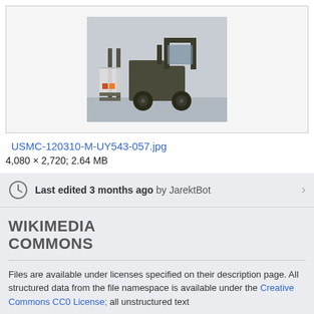[Figure (photo): Military forklift vehicle on a snowy/grey surface, photo thumbnail in a light grey bordered box]
USMC-120310-M-UY543-057.jpg
4,080 × 2,720; 2.64 MB
Last edited 3 months ago by JarektBot
WIKIMEDIA COMMONS
Files are available under licenses specified on their description page. All structured data from the file namespace is available under the Creative Commons CC0 License; all unstructured text